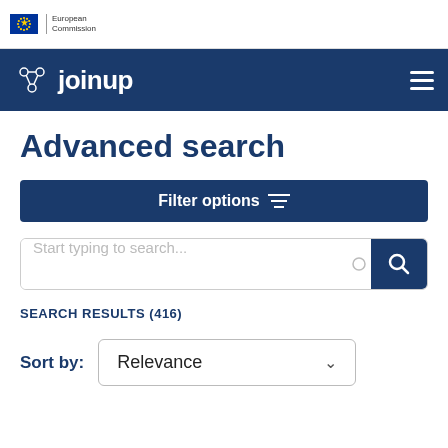[Figure (logo): European Commission logo with EU flag stars and 'European Commission' text]
[Figure (logo): Joinup platform logo with network icon and 'joinup' text on dark blue navigation bar with hamburger menu]
Advanced search
Filter options
Start typing to search...
SEARCH RESULTS (416)
Sort by: Relevance